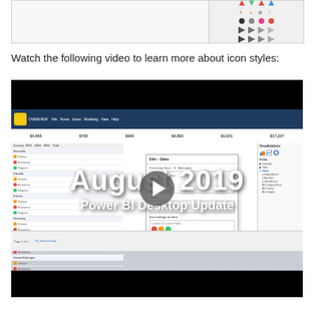[Figure (screenshot): Partial screenshot showing icon styles panel with colored icons in a grid (arrows, circles, triangles in various colors)]
Watch the following video to learn more about icon styles:
[Figure (screenshot): Video thumbnail showing a Power BI Desktop dashboard screenshot with text overlay reading 'August 2019 Power BI Desktop Update' and a play button in the center]